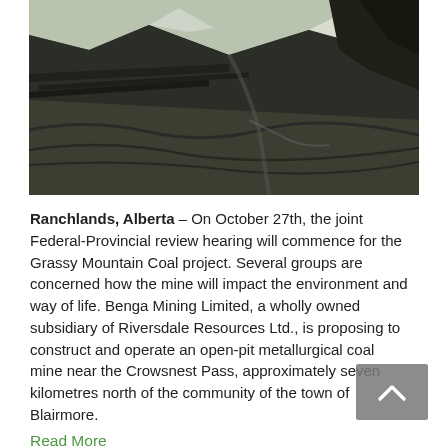[Figure (photo): Aerial photograph of a rocky mountainous landscape with dark coal seams, ridges and valleys — likely the Grassy Mountain area near Crowsnest Pass, Alberta.]
Ranchlands, Alberta – On October 27th, the joint Federal-Provincial review hearing will commence for the Grassy Mountain Coal project. Several groups are concerned how the mine will impact the environment and way of life. Benga Mining Limited, a wholly owned subsidiary of Riversdale Resources Ltd., is proposing to construct and operate an open-pit metallurgical coal mine near the Crowsnest Pass, approximately seven kilometres north of the community of the town of Blairmore.
Read More